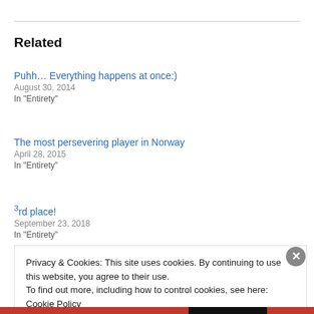Related
Puhh… Everything happens at once:)
August 30, 2014
In "Entirety"
The most persevering player in Norway
April 28, 2015
In "Entirety"
3rd place!
September 23, 2018
In "Entirety"
Privacy & Cookies: This site uses cookies. By continuing to use this website, you agree to their use.
To find out more, including how to control cookies, see here: Cookie Policy